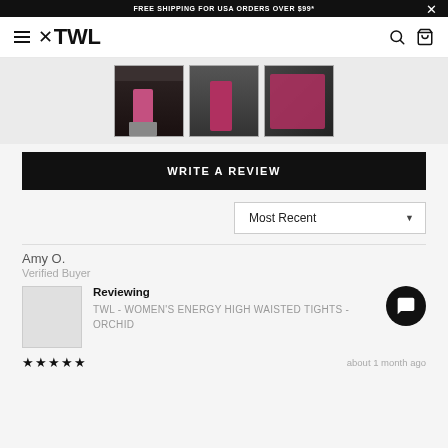FREE SHIPPING FOR USA ORDERS OVER $99*
[Figure (logo): TWL brand logo with cross/bracket icon]
[Figure (photo): Three product thumbnail images of women wearing pink/orchid high waisted tights in a gym setting]
WRITE A REVIEW
Most Recent
Amy O.
Verified Buyer
Reviewing
TWL - WOMEN'S ENERGY HIGH WAISTED TIGHTS - ORCHID